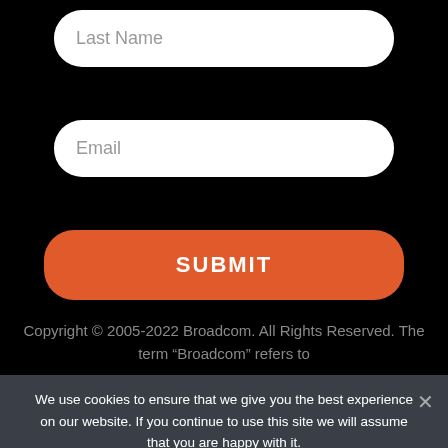Last Name
Email
SUBMIT
Copyright © 2005-2022 Broadcom. All Rights Reserved. The term “Broadcom” refers to
We use cookies to ensure that we give you the best experience on our website. If you continue to use this site we will assume that you are happy with it.
Ok
Privacy policy